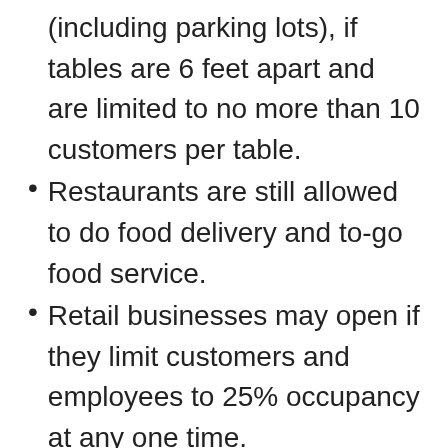(including parking lots), if tables are 6 feet apart and are limited to no more than 10 customers per table.
Restaurants are still allowed to do food delivery and to-go food service.
Retail businesses may open if they limit customers and employees to 25% occupancy at any one time.
Hotels and motels may open.
Dental offices may open.
Childcare centers may remain open if currently able to open and if they